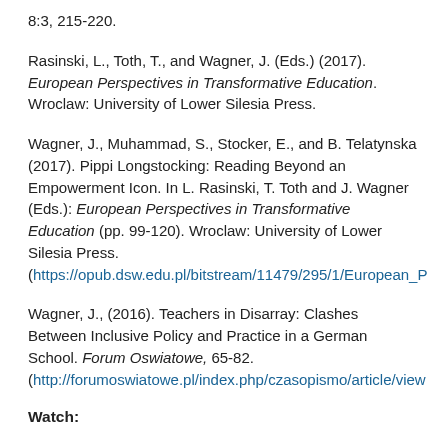8:3, 215-220.
Rasinski, L., Toth, T., and Wagner, J. (Eds.) (2017). European Perspectives in Transformative Education. Wroclaw: University of Lower Silesia Press.
Wagner, J., Muhammad, S., Stocker, E., and B. Telatynska (2017). Pippi Longstocking: Reading Beyond an Empowerment Icon. In L. Rasinski, T. Toth and J. Wagner (Eds.): European Perspectives in Transformative Education (pp. 99-120). Wroclaw: University of Lower Silesia Press. (https://opub.dsw.edu.pl/bitstream/11479/295/1/European_P
Wagner, J., (2016). Teachers in Disarray: Clashes Between Inclusive Policy and Practice in a German School. Forum Oswiatowe, 65-82. (http://forumoswiatowe.pl/index.php/czasopismo/article/view
Watch: